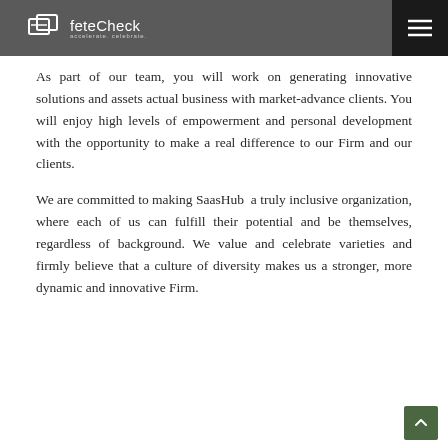feteCheck — accelerate. celebrate.
As part of our team, you will work on generating innovative solutions and assets actual business with market-advance clients. You will enjoy high levels of empowerment and personal development with the opportunity to make a real difference to our Firm and our clients.
We are committed to making SaasHub a truly inclusive organization, where each of us can fulfill their potential and be themselves, regardless of background. We value and celebrate varieties and firmly believe that a culture of diversity makes us a stronger, more dynamic and innovative Firm.